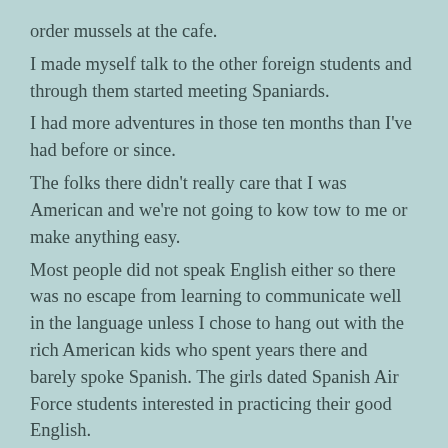order mussels at the cafe.
I made myself talk to the other foreign students and through them started meeting Spaniards.
I had more adventures in those ten months than I've had before or since.
The folks there didn't really care that I was American and we're not going to kow tow to me or make anything easy.
Most people did not speak English either so there was no escape from learning to communicate well in the language unless I chose to hang out with the rich American kids who spent years there and barely spoke Spanish. The girls dated Spanish Air Force students interested in practicing their good English.
I learned to live life at a slower pace, that true friendship is rare and precious, that you must take chances to get what you want, and that every people has a distinct and marvelous